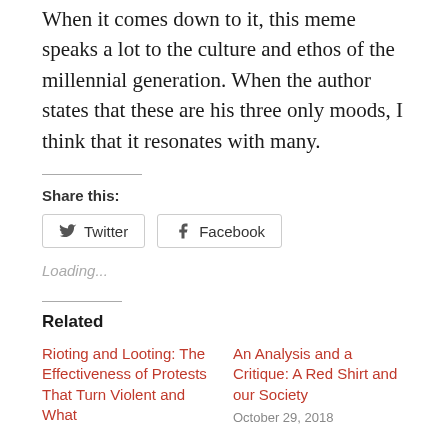When it comes down to it, this meme speaks a lot to the culture and ethos of the millennial generation. When the author states that these are his three only moods, I think that it resonates with many.
Share this:
Twitter
Facebook
Loading...
Related
Rioting and Looting: The Effectiveness of Protests That Turn Violent and What
An Analysis and a Critique: A Red Shirt and our Society
October 29, 2018